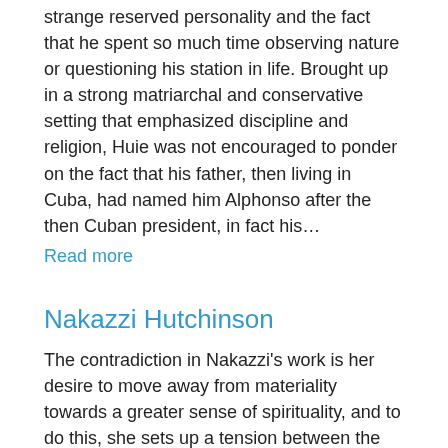strange reserved personality and the fact that he spent so much time observing nature or questioning his station in life. Brought up in a strong matriarchal and conservative setting that emphasized discipline and religion, Huie was not encouraged to ponder on the fact that his father, then living in Cuba, had named him Alphonso after the then Cuban president, in fact his…
Read more
Nakazzi Hutchinson
The contradiction in Nakazzi's work is her desire to move away from materiality towards a greater sense of spirituality, and to do this, she sets up a tension between the object and the space around it. Even as she is constructing her characteristically life size figures, she is simultaneously stripping away their body parts, and representing the body in a fragmentary way that hints at the essence of humanity's flesh and blood forms. Her use of driftwood, twigs, tree bark and other natural…
Read more
Eugene Hyde (1931-1980
Coming from fairly humble beginnings, Eugene Hyde was born in